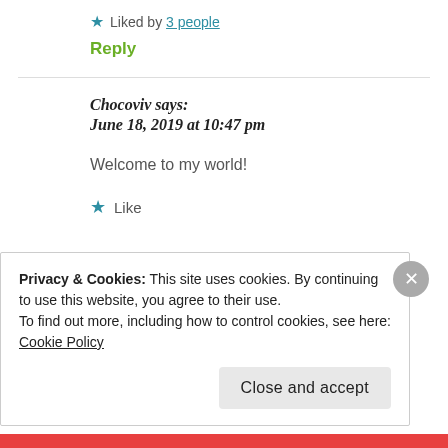★ Liked by 3 people
Reply
Chocoviv says: June 18, 2019 at 10:47 pm
Welcome to my world!
★ Like
Privacy & Cookies: This site uses cookies. By continuing to use this website, you agree to their use.
To find out more, including how to control cookies, see here: Cookie Policy
Close and accept